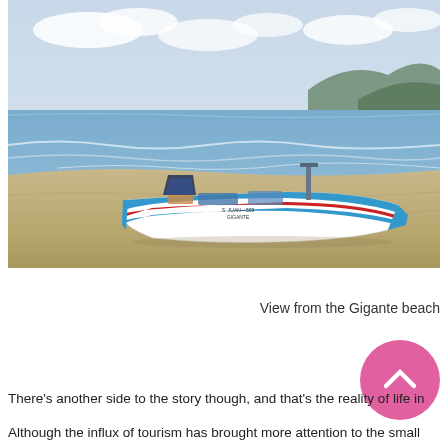[Figure (photo): A blue and white fishing boat named 'S. JUAN - 509 GIGANTE' resting on a sandy beach with ocean waves and hills in the background under a cloudy sky.]
View from the Gigante beach
There's another side to the story though, and that's the reality of life in
Although the influx of tourism has brought more attention to the small